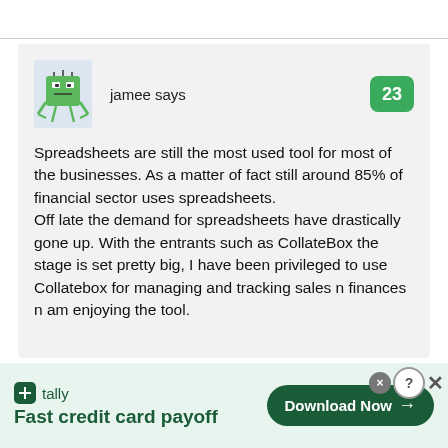jamee says
23
Spreadsheets are still the most used tool for most of the businesses. As a matter of fact still around 85% of financial sector uses spreadsheets. Off late the demand for spreadsheets have drastically gone up. With the entrants such as CollateBox the stage is set pretty big, I have been privileged to use Collatebox for managing and tracking sales n finances n am enjoying the tool.
[Figure (infographic): Advertisement banner for Tally app. Shows tally logo icon, text 'tally', tagline 'Fast credit card payoff', and a green 'Download Now' button with arrow. Has a close/help button in top right corner.]